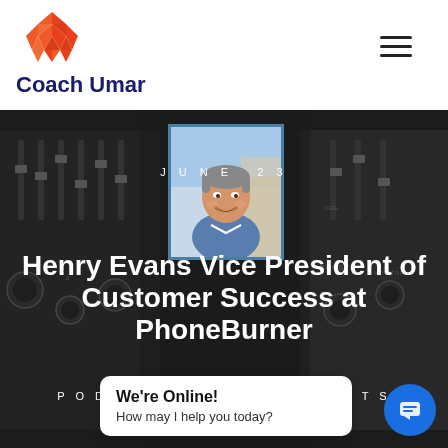[Figure (logo): Coach Umar logo — orange geometric brain icon above text 'Coach Umar' in dark navy bold font]
[Figure (photo): DJ mixer/audio equipment in dark grayscale used as hero background]
JUNE 23
Henry Evans Vice President of Customer Success at PhoneBurner
PODCAST   0 COMMENTS
We're Online!
How may I help you today?